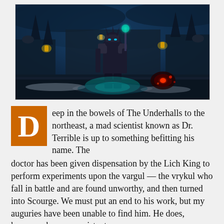[Figure (screenshot): A dark fantasy video game screenshot showing an armored character standing in a dimly lit, blue-toned dungeon environment with gothic architecture, lanterns, and glowing effects.]
Deep in the bowels of The Underhalls to the northeast, a mad scientist known as Dr. Terrible is up to something befitting his name. The doctor has been given dispensation by the Lich King to perform experiments upon the vargul — the vrykul who fall in battle and are found unworthy, and then turned into Scourge. We must put an end to his work, but my auguries have been unable to find him. He does, however, have an assistant.